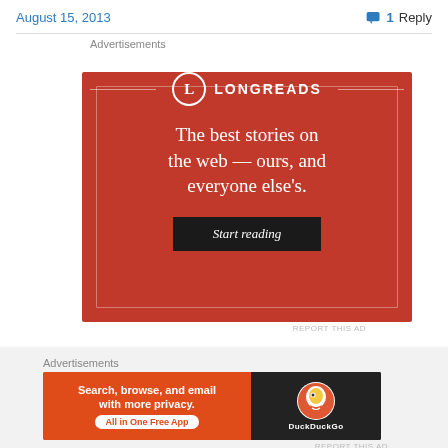August 15, 2013   💬 1 Reply
Advertisements
[Figure (illustration): Longreads advertisement banner on red background with logo circle, tagline 'The best stories on the web — ours, and everyone else's.' and a 'Start reading' button.]
REPORT THIS AD
Advertisements
[Figure (illustration): DuckDuckGo advertisement banner: orange left side with text 'Search, browse, and email with more privacy. All in One Free App' and dark right side with DuckDuckGo logo and name.]
REPORT THIS AD